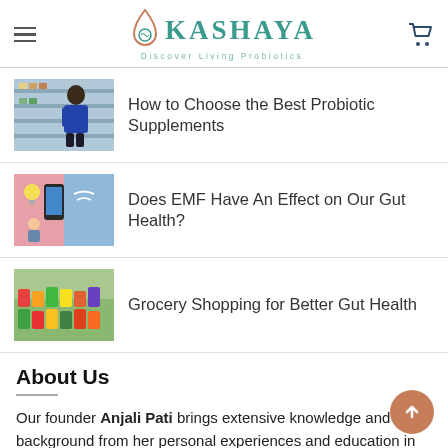KASHAYA — Discover Living Probiotics (logo header with hamburger menu and cart icon)
How to Choose the Best Probiotic Supplements
Does EMF Have An Effect on Our Gut Health?
Grocery Shopping for Better Gut Health
About Us
Our founder Anjali Pati brings extensive knowledge and background from her personal experiences and education in Naturopathic Medicine of living-bio-available product development using a proprietary